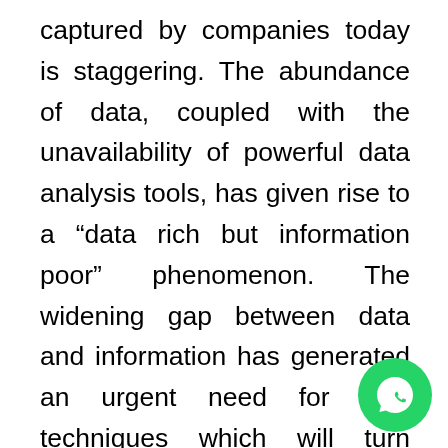captured by companies today is staggering. The abundance of data, coupled with the unavailability of powerful data analysis tools, has given rise to a “data rich but information poor” phenomenon. The widening gap between data and information has generated an urgent need for new techniques which will turn these vast amounts of data into “golden nuggets” of knowledge. This realization, spawned from four years of undergraduate studies motivated me to work towards becoming a
[Figure (logo): WhatsApp logo — green circle with white phone handset icon]